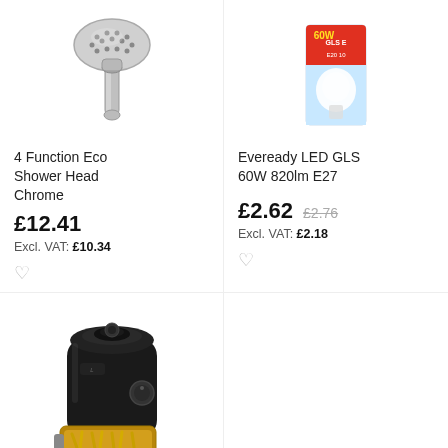[Figure (photo): Chrome shower head with multiple spray functions, shown from front angle]
[Figure (photo): Eveready LED GLS light bulb 60W equivalent, 820lm, E27 fitting, shown in retail box packaging]
4 Function Eco Shower Head Chrome
£12.41
Excl. VAT: £10.34
Eveready LED GLS 60W 820lm E27
£2.62  £2.76
Excl. VAT: £2.18
[Figure (photo): Black compact air fryer with basket partially open showing fries inside]